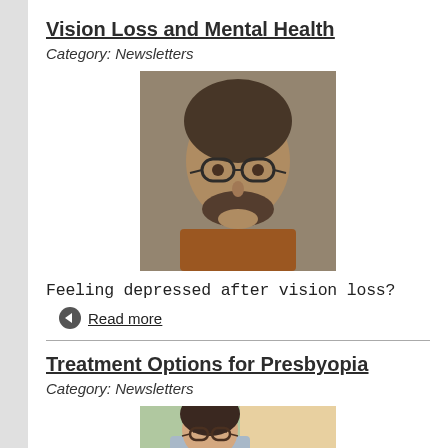Vision Loss and Mental Health
Category: Newsletters
[Figure (photo): Middle-aged man with round glasses and short beard, resting chin on hand, thoughtful expression]
Feeling depressed after vision loss?
Read more
Treatment Options for Presbyopia
Category: Newsletters
[Figure (photo): Woman with glasses looking at smartphone, squinting slightly]